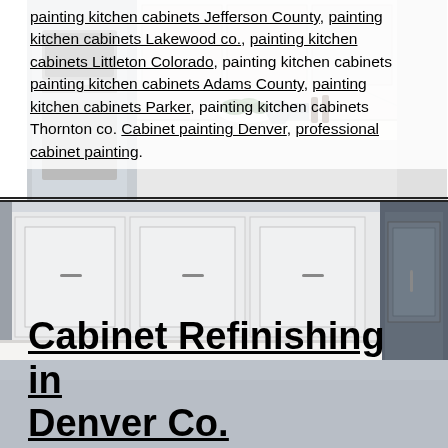painting kitchen cabinets Jefferson County, painting kitchen cabinets Lakewood co., painting kitchen cabinets Littleton Colorado, painting kitchen cabinets painting kitchen cabinets Adams County, painting kitchen cabinets Parker, painting kitchen cabinets Thornton co. Cabinet painting Denver, professional cabinet painting.
[Figure (photo): Photo of a bright modern kitchen with white cabinets, marble backsplash, kitchen island with dark hardware, bowl of greens, and stainless steel appliances — top half of page.]
[Figure (photo): Photo of a modern kitchen with white shaker-style cabinets, dark cabinet island, stainless steel refrigerator — bottom half of page.]
Cabinet Refinishing in Denver Co.